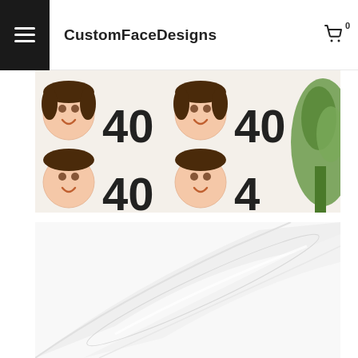CustomFaceDesigns
[Figure (photo): Repeating pattern of a smiling woman's face and the number 40 on white wrapping paper, with a green plant visible at the right edge]
[Figure (photo): Rolled or folded white wrapping paper on a light background, showing the plain white side]